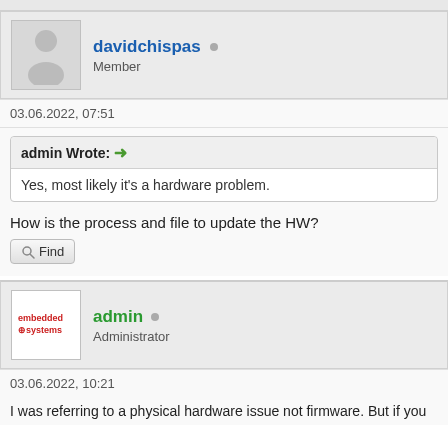davidchispas — Member
03.06.2022, 07:51
admin Wrote: → Yes, most likely it's a hardware problem.
How is the process and file to update the HW?
Find
admin — Administrator
03.06.2022, 10:21
I was referring to a physical hardware issue not firmware. But if you